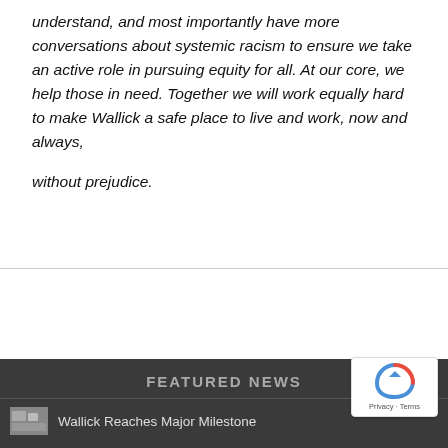understand, and most importantly have more conversations about systemic racism to ensure we take an active role in pursuing equity for all. At our core, we help those in need. Together we will work equally hard to make Wallick a safe place to live and work, now and always, without prejudice.
FEATURED NEWS
Wallick Reaches Major Milestone